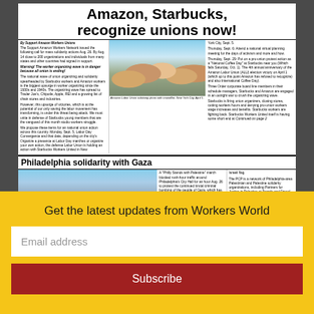Amazon, Starbucks, recognize unions now!
By Support Amazon Workers Unions
This Support Amazon Workers Network issued the following call for mass solidarity actions Aug. 26. By Aug. 14 close to 200 organizations and individuals from many states and other countries had signed in support.
Warning! The worker organizing wave is in danger because all union is ending!
The national wave of union organizing and solidarity spearheaded by Starbucks workers and Amazon workers is the biggest upsurge in worker organizing since the 1930s and 1940s. The organizing wave has spread to Trader Joe's, Chipotle, Apple, REI and a growing list of chain stores and industries.
[Figure (photo): Amazon Labor Union solidarity photo with crowd and raised fist, New York City, April 1]
Amazon Labor Union solidarity photo with crowd/fist, New York City, April 1
However, this upsurge of victories, which is at the potential of our only saving the labor movement has transforming, is under this threat being attack. We must unite in defense of Starbucks young members that are the vanguard of this month studio workers struggle.
We propose these items for an national union action across this country. Monday, Sept. 5, Labor Day Convergence and that date, depending on the city's Organize a presence at Labor Day marches or organize your own action, the defense Labor Union is holding an action with Starbucks Workers United in New York City, Sept. 5.
Thursday, Sept. 6: Attend a national virtual planning meeting for the days of activism and more and how.
Thursday, Sept. 29: Put on a pro-union protest action as a 'National Coffee Day' at Starbucks near you (Which falls Saturday, Oct. 1). The 4th annual anniversary of the Amazon Labor Union (ALU) election victory on April 1 (which up to this point Amazon has refused to recognize) and also International Coffee Day).
Three Order corporate board line members in their schedule managers, Starbucks and Amazon are engaged in an outright war to crush the organizing wave.
Starbucks is firing union organizers, closing stores, cutting workers hours and denying pro-union workers wage increases and benefits. Starbucks workers are fighting back. Starbucks Workers United itself is having some short end at Continued on page 2
Philadelphia solidarity with Gaza
[Figure (photo): Philadelphia protest march with Palestinian flags and people holding signs including 'STOP AID TO ISRAEL NOW PLEASE']
Philadelphia, Aug. 14.
A 'Philly Stands with Palestine' march blocked rush-hour traffic around Philadelphia's City Hall for an hour Aug. 26 to protest the continued brutal criminal bombing of the people of Gaza, which has murdered at least 41 children.
After an initial rally on the sidewalk at City Hall, over 500 activists marched to surround all the Philadelphia Coalition for Palestine's demands: 'House all Palestinian mothers; End the blockade on Gaza; Defend Palestinian resistance!' A final rally took place in front of the entrance of City Hall, punctuated at the exit by the burning of an Israeli flag.
The PCP is a network of Philadelphia-area Palestinian and Palestine solidarity organizations, including Partners for Justice in Palestine at Temple and Drexel Universities, Council on American Islamic Relations (CAIR-Philadelphia), coalition Philly Black Alliance for Peace, Workers World News, Philadelphia Coalition for Bosnia, a Palestine and Gaza occupation Israel (Philly BNC), Jewish Voice for Peace Philadelphia, and BliksNew Philly.
— Report and photo by Ana Fl...
Black August tribute
Brianna Grier: Cops lie                    3
Get the latest updates from Workers World
Email address
Subscribe